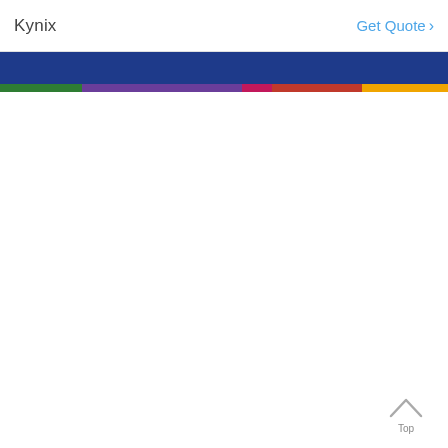Kynix   Get Quote >
[Figure (other): Dark blue navigation bar with multicolor stripe below (green, purple, pink, red, yellow segments)]
Top